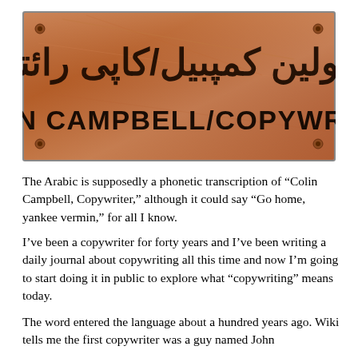[Figure (photo): A copper/bronze colored plaque sign with text in both Arabic/Urdu script (top) and bold Latin capitals (bottom) reading 'COLIN CAMPBELL/COPYWRITER'. Corner screw holes visible.]
The Arabic is supposedly a phonetic transcription of “Colin Campbell, Copywriter,” although it could say “Go home, yankee vermin,” for all I know.
I’ve been a copywriter for forty years and I’ve been writing a daily journal about copywriting all this time and now I’m going to start doing it in public to explore what “copywriting” means today.
The word entered the language about a hundred years ago. Wiki tells me the first copywriter was a guy named John